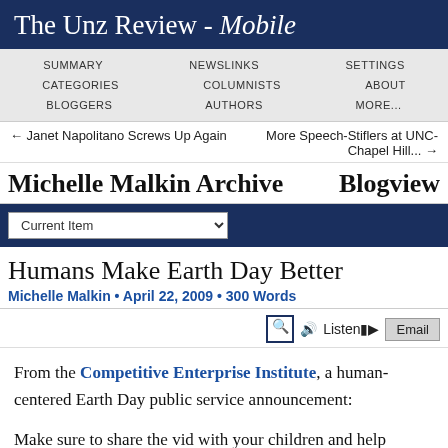The Unz Review - Mobile
SUMMARY   NEWSLINKS   SETTINGS
CATEGORIES   COLUMNISTS   ABOUT
BLOGGERS   AUTHORS   MORE...
← Janet Napolitano Screws Up Again   More Speech-Stiflers at UNC-Chapel Hill... →
Michelle Malkin Archive
Blogview
Current Item
Humans Make Earth Day Better
Michelle Malkin • April 22, 2009 • 300 Words
Listen   Email
From the Competitive Enterprise Institute, a human-centered Earth Day public service announcement:
Make sure to share the vid with your children and help immunize the next generation against enviro-nitwit-ism.